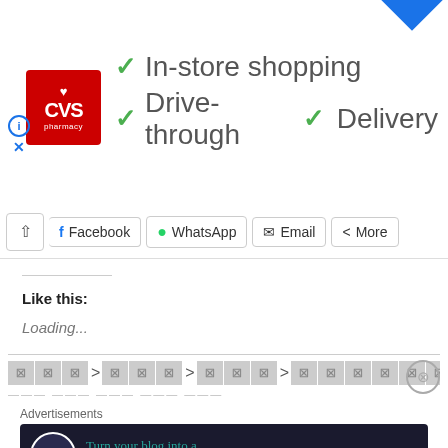[Figure (screenshot): CVS Pharmacy advertisement banner with red logo, checkmarks for In-store shopping, Drive-through, and Delivery services, and a blue navigation diamond arrow icon]
[Figure (screenshot): Social sharing toolbar with chevron up button, Facebook, WhatsApp, Email, and More buttons]
Like this:
Loading...
[Figure (screenshot): Breadcrumb navigation row with redacted/blocked content boxes and arrows, plus a close circle button]
Advertisements
[Figure (screenshot): Advertisement banner: Turn your blog into a money-making online course.]